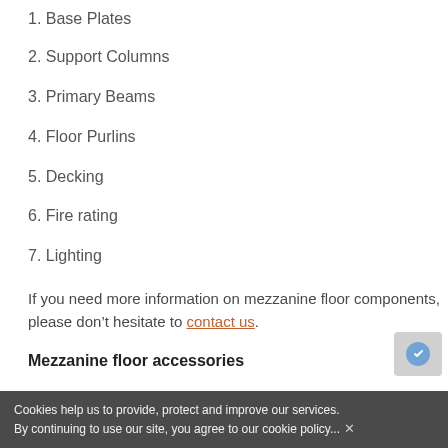1. Base Plates
2. Support Columns
3. Primary Beams
4. Floor Purlins
5. Decking
6. Fire rating
7. Lighting
If you need more information on mezzanine floor components, please don’t hesitate to contact us.
Mezzanine floor accessories
Accessories are often fitted to mezzanine floors to improve the safety and the you...
Cookies help us to provide, protect and improve our services. By continuing to use our site, you agree to our cookie policy... ×